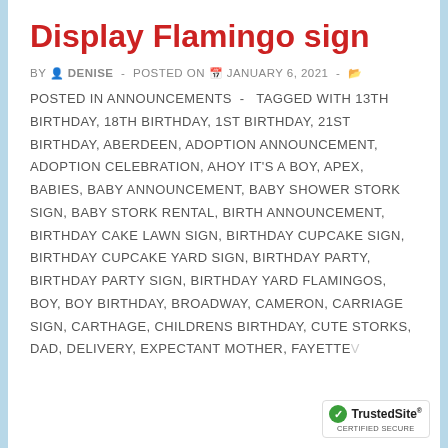Display Flamingo sign
BY DENISE - POSTED ON JANUARY 6, 2021 -
POSTED IN ANNOUNCEMENTS - TAGGED WITH 13TH BIRTHDAY, 18TH BIRTHDAY, 1ST BIRTHDAY, 21ST BIRTHDAY, ABERDEEN, ADOPTION ANNOUNCEMENT, ADOPTION CELEBRATION, AHOY IT'S A BOY, APEX, BABIES, BABY ANNOUNCEMENT, BABY SHOWER STORK SIGN, BABY STORK RENTAL, BIRTH ANNOUNCEMENT, BIRTHDAY CAKE LAWN SIGN, BIRTHDAY CUPCAKE SIGN, BIRTHDAY CUPCAKE YARD SIGN, BIRTHDAY PARTY, BIRTHDAY PARTY SIGN, BIRTHDAY YARD FLAMINGOS, BOY, BOY BIRTHDAY, BROADWAY, CAMERON, CARRIAGE SIGN, CARTHAGE, CHILDRENS BIRTHDAY, CUTE STORKS, DAD, DELIVERY, EXPECTANT MOTHER, FAYETTEVILLE
[Figure (logo): TrustedSite certified secure badge]